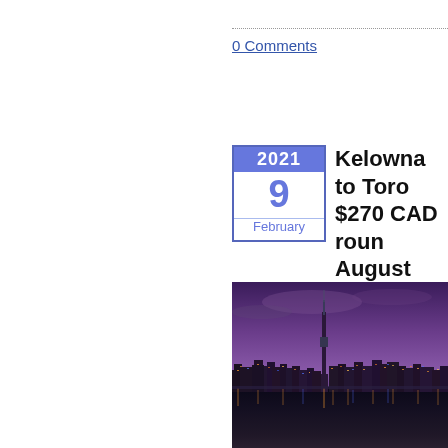0 Comments
2021
9
February
Kelowna to Toronto $270 CAD round-trip August available
[Figure (photo): Toronto city skyline at night with CN Tower illuminated, reflected in water, purple and blue twilight sky]